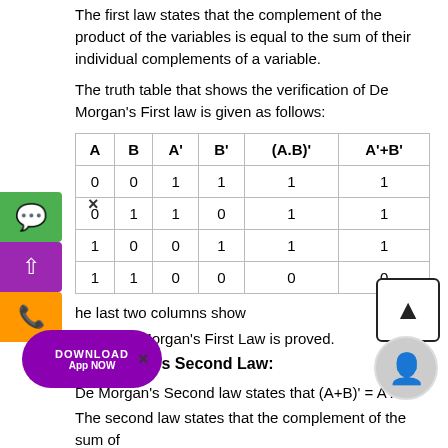The first law states that the complement of the product of the variables is equal to the sum of their individual complements of a variable.
The truth table that shows the verification of De Morgan's First law is given as follows:
| A | B | A' | B' | (A.B)' | A'+B' |
| --- | --- | --- | --- | --- | --- |
| 0 | 0 | 1 | 1 | 1 | 1 |
| 0 | 1 | 1 | 0 | 1 | 1 |
| 1 | 0 | 0 | 1 | 1 | 1 |
| 1 | 1 | 0 | 0 | 0 | 0 |
he last two columns show...
ence, De Morgan's First Law is proved.
De Morgan's Second Law:
De Morgan's Second law states that (A+B)' = A'. B'.
The second law states that the complement of the sum of...